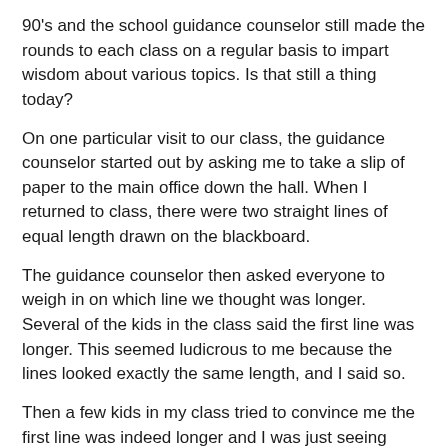90's and the school guidance counselor still made the rounds to each class on a regular basis to impart wisdom about various topics. Is that still a thing today?
On one particular visit to our class, the guidance counselor started out by asking me to take a slip of paper to the main office down the hall. When I returned to class, there were two straight lines of equal length drawn on the blackboard.
The guidance counselor then asked everyone to weigh in on which line we thought was longer. Several of the kids in the class said the first line was longer. This seemed ludicrous to me because the lines looked exactly the same length, and I said so.
Then a few kids in my class tried to convince me the first line was indeed longer and I was just seeing things wrong.
"The first line is totally longer...can't you see it? Come on, Kate, the first line is the longer one!"
Apparently this was supposed to be a lesson in peer